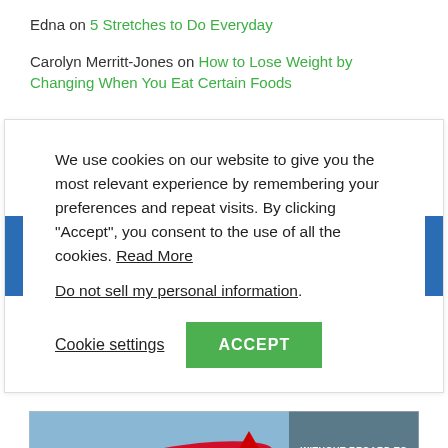Edna on 5 Stretches to Do Everyday
Carolyn Merritt-Jones on How to Lose Weight by Changing When You Eat Certain Foods
We use cookies on our website to give you the most relevant experience by remembering your preferences and repeat visits. By clicking “Accept”, you consent to the use of all the cookies. Read More
Do not sell my personal information.
Cookie settings  ACCEPT
[Figure (photo): Advertisement banner showing a cargo airplane being loaded on a tarmac with text 'WITHOUT REGARD TO POLITICS, RELIGION, OR HEALTH TO WAR' on the right side]